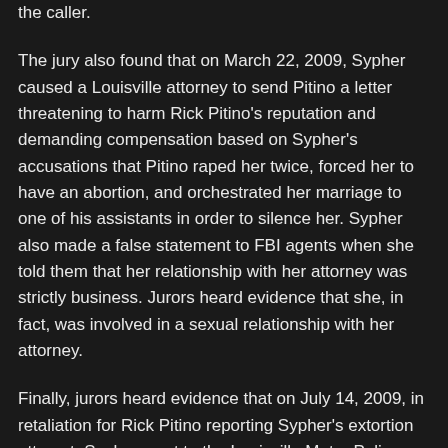the caller.
The jury also found that on March 22, 2009, Sypher caused a Louisville attorney to send Pitino a letter threatening to harm Rick Pitino's reputation and demanding compensation based on Sypher's accusations that Pitino raped her twice, forced her to have an abortion, and orchestrated her marriage to one of his assistants in order to silence her. Sypher also made a false statement to FBI agents when she told them that her relationship with her attorney was strictly business. Jurors heard evidence that she, in fact, was involved in a sexual relationship with her attorney.
Finally, jurors heard evidence that on July 14, 2009, in retaliation for Rick Pitino reporting Sypher's extortion attempt, Sypher went to the Louisville Metro Police Department and filed a criminal complaint alleging that Rick Pitino raped her. Sypher's allegations were later determined by the Jefferson County Commonwealth's Attorney to be without merit.